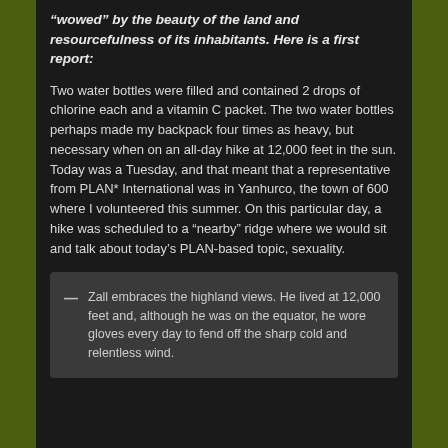“wowed” by the beauty of the land and resourcefulness of its inhabitants. Here is a first report:
Two water bottles were filled and contained 2 drops of chlorine each and a vitamin C packet. The two water bottles perhaps made my backpack four times as heavy, but necessary when on an all-day hike at 12,000 feet in the sun. Today was a Tuesday, and that meant that a representative from PLAN* International was in Yanhurco, the town of 600 where I volunteered this summer. On this particular day, a hike was scheduled to a “nearby” ridge where we would sit and talk about today’s PLAN-based topic, sexuality.
Zall embraces the highland views. He lived at 12,000 feet and, although he was on the equator, he wore gloves every day to fend off the sharp cold and relentless wind.